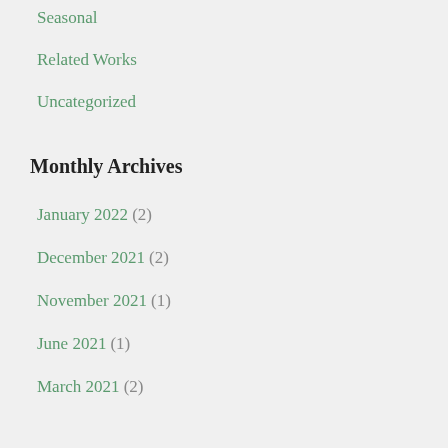Seasonal
Related Works
Uncategorized
Monthly Archives
January 2022 (2)
December 2021 (2)
November 2021 (1)
June 2021 (1)
March 2021 (2)
January 2021 (2)
December 2020 (2)
November 2020 (2)